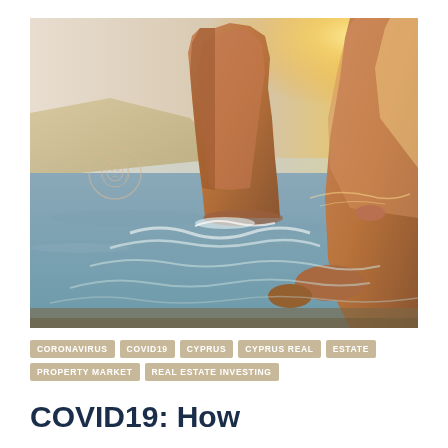[Figure (photo): Coastal rocky landscape at sunset showing a large rock formation rising from the sea with waves crashing at its base, cliffs in the background, and bright sunlight coming from the right. A lion watermark/logo is overlaid on the left side of the image.]
CORONAVIRUS
COVID19
CYPRUS
CYPRUS REAL ESTATE
PROPERTY MARKET
REAL ESTATE INVESTING
COVID19: How